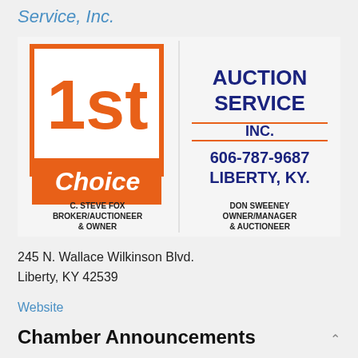Service, Inc.
[Figure (logo): 1st Choice Auction Service Inc. logo with orange and white branding, showing C. Steve Fox Broker/Auctioneer & Owner on the left, and Auction Service Inc. 606-787-9687 Liberty, KY. Don Sweeney Owner/Manager & Auctioneer on the right.]
245 N. Wallace Wilkinson Blvd.
Liberty, KY 42539
Website
Chamber Announcements